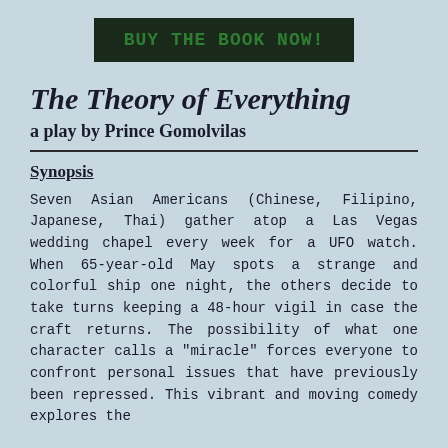[Figure (other): Dark green/black rectangular button with bold green text reading 'BUY THE BOOK NOW!']
The Theory of Everything
a play by Prince Gomolvilas
Synopsis
Seven Asian Americans (Chinese, Filipino, Japanese, Thai) gather atop a Las Vegas wedding chapel every week for a UFO watch. When 65-year-old May spots a strange and colorful ship one night, the others decide to take turns keeping a 48-hour vigil in case the craft returns. The possibility of what one character calls a "miracle" forces everyone to confront personal issues that have previously been repressed. This vibrant and moving comedy explores the